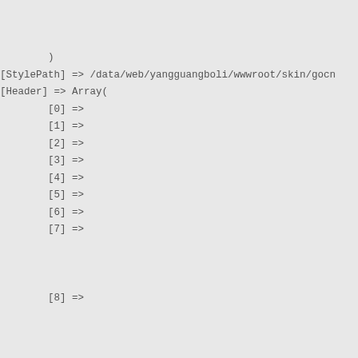)
[StylePath] => /data/web/yangguangboli/wwwroot/skin/gocn
[Header] => Array(
        [0] =>
        [1] =>
        [2] =>
        [3] =>
        [4] =>
        [5] =>
        [6] =>
        [7] =>



        [8] =>







        )